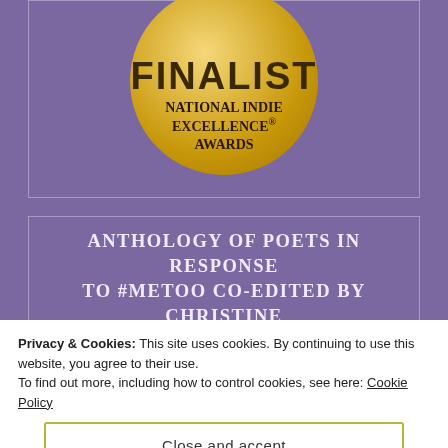[Figure (logo): Gold circular Finalist medal badge for National Indie Excellence Awards, showing FINALIST text at top and NATIONAL INDIE EXCELLENCE® AWARDS text below, on a purple background box with border]
ANTHOLOGY OF POETS IN RESPONSE TO #METOO CO-EDITED BY CHRISTINE RAY, KINDRA AUSTIN, RACHEL FINCH
Privacy & Cookies: This site uses cookies. By continuing to use this website, you agree to their use.
To find out more, including how to control cookies, see here: Cookie Policy
Close and accept